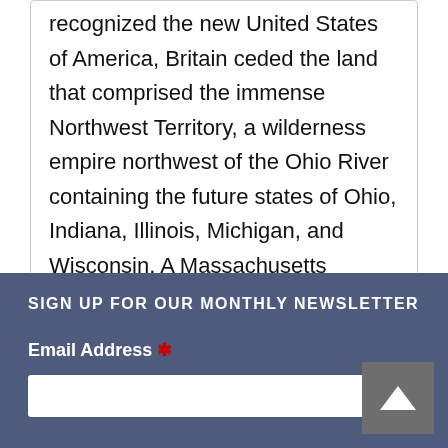recognized the new United States of America, Britain ceded the land that comprised the immense Northwest Territory, a wilderness empire northwest of the Ohio River containing the future states of Ohio, Indiana, Illinois, Michigan, and Wisconsin. A Massachusetts minister named Manasseh Cutler was instrumental in opening this vast territory to veterans of the Revolutionary War and their families for settlement. Included in the Northwest Ordinance were three remarkable conditions: freedom of
SIGN UP FOR OUR MONTHLY NEWSLETTER
Email Address *